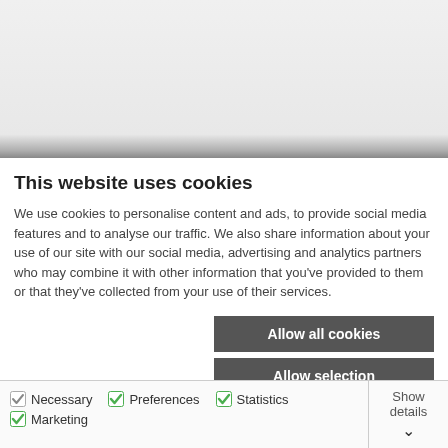[Figure (screenshot): Gray background area representing a webpage content area above the cookie consent banner]
This website uses cookies
We use cookies to personalise content and ads, to provide social media features and to analyse our traffic. We also share information about your use of our site with our social media, advertising and analytics partners who may combine it with other information that you've provided to them or that they've collected from your use of their services.
Allow all cookies
Allow selection
Use necessary cookies only
Necessary   Preferences   Statistics   Marketing   Show details